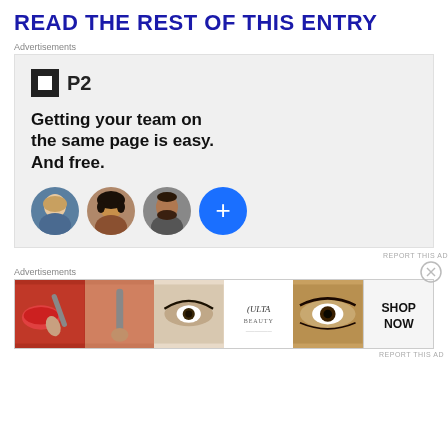READ THE REST OF THIS ENTRY
Advertisements
[Figure (other): P2 advertisement: Logo with dark square icon and 'P2' text. Headline: 'Getting your team on the same page is easy. And free.' Three person avatar circles and a blue plus circle below.]
REPORT THIS AD
Advertisements
[Figure (other): Ulta Beauty banner advertisement showing beauty/makeup imagery and 'SHOP NOW' text.]
REPORT THIS AD